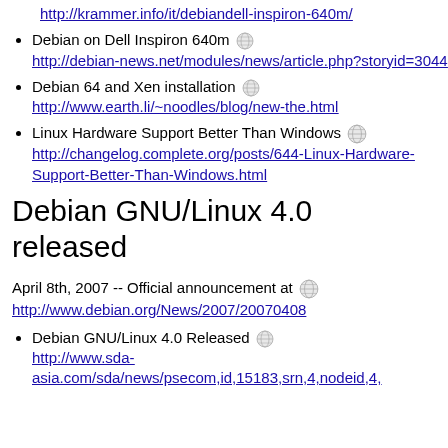http://krammer.info/it/debiandell-inspiron-640m/
Debian on Dell Inspiron 640m  http://debian-news.net/modules/news/article.php?storyid=3044
Debian 64 and Xen installation  http://www.earth.li/~noodles/blog/new-the.html
Linux Hardware Support Better Than Windows  http://changelog.complete.org/posts/644-Linux-Hardware-Support-Better-Than-Windows.html
Debian GNU/Linux 4.0 released
April 8th, 2007 -- Official announcement at  http://www.debian.org/News/2007/20070408
Debian GNU/Linux 4.0 Released  http://www.sda-asia.com/sda/news/psecom,id,15183,srn,4,nodeid,4,